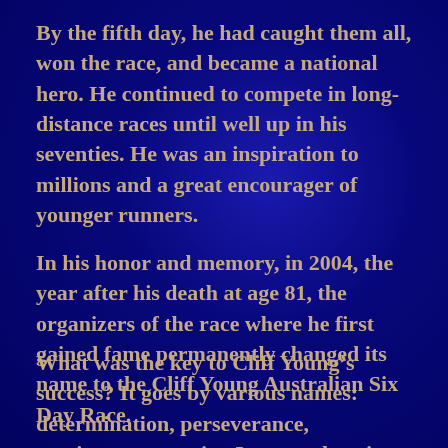By the fifth day, he had caught them all, won the race, and became a national hero. He continued to compete in long-distance races until well up in his seventies. He was an inspiration to millions and a great encourager of younger runners.
In his honor and memory, in 2004, the year after his death at age 81, the organizers of the race where he first gained fame permanently changed its name to the Cliff Young Australian Six Day Race.
What was the key to Cliff Young’s success? It goes by various names: determination, perseverance, persistence, tenacity. It means keeping one’s eye fixed steadfastly on a goal, and not stopping, no matter the difficulties or the